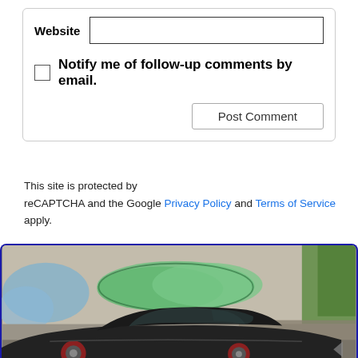Website
Notify me of follow-up comments by email.
Post Comment
This site is protected by reCAPTCHA and the Google Privacy Policy and Terms of Service apply.
[Figure (photo): A dark matte black classic car (muscle car body style) parked in front of a graffiti-covered wall with green and blue street art tags. Vegetation and rubble visible in background.]